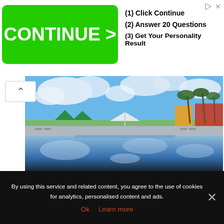[Figure (infographic): Advertisement banner with green CONTINUE > button on left and three numbered steps on right: (1) Click Continue, (2) Answer 20 Questions, (3) Get Your Personality Result. Small play and X icons top right.]
[Figure (photo): Outdoor luxury resort swimming pool with reflective blue water, palm trees, umbrellas, lounge chairs, cloudy blue sky and colorful buildings in background.]
By using this service and related content, you agree to the use of cookies for analytics, personalised content and ads.
Ok
Learn more